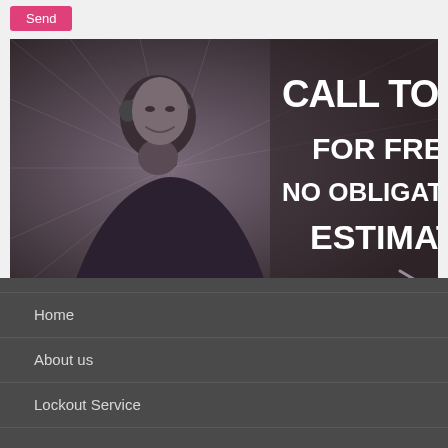[Figure (illustration): Pink/magenta 'Send' button at top left of page]
[Figure (illustration): Promotional banner with grayscale/purple-toned image of smiling woman with headset on left side, and large bold white text on dark background reading 'CALL TODAY FOR FREE NO OBLIGATION ESTIMATE']
Home
About us
Lockout Service